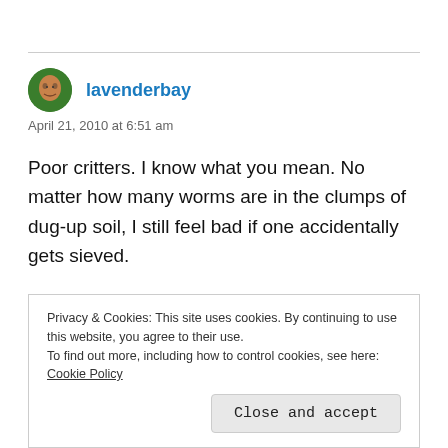[Figure (photo): Green circular avatar with a face illustration]
lavenderbay
April 21, 2010 at 6:51 am
Poor critters. I know what you mean. No matter how many worms are in the clumps of dug-up soil, I still feel bad if one accidentally gets sieved.
Nice job on the fence! We’ll have to add something
Privacy & Cookies: This site uses cookies. By continuing to use this website, you agree to their use.
To find out more, including how to control cookies, see here: Cookie Policy
Close and accept